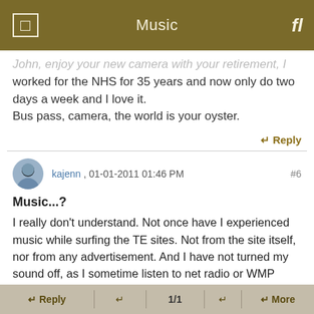Music
John, enjoy your new camera with your retirement, I worked for the NHS for 35 years and now only do two days a week and I love it.
Bus pass, camera, the world is your oyster.
↵ Reply
kajenn , 01-01-2011 01:46 PM  #6
Music...?
I really don't understand. Not once have I experienced music while surfing the TE sites. Not from the site itself, nor from any advertisement. And I have not turned my sound off, as I sometime listen to net radio or WMP while surfing.
I thought there was a way of independently turning
↵ Reply   ↵   1/1   ↵   ↵ More